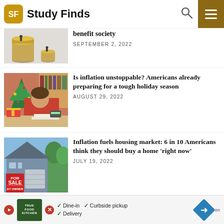Study Finds
[Figure (photo): Two miniature figurines standing on stacks of coins of different heights against a white background]
benefit society
SEPTEMBER 2, 2022
[Figure (photo): Man in red sweater looking stressed with head down on a table surrounded by Christmas gifts and papers with a Christmas tree in the background]
Is inflation unstoppable? Americans already preparing for a tough holiday season
AUGUST 29, 2022
[Figure (photo): House exterior with a red For Sale By Owner sign in the foreground]
Inflation fuels housing market: 6 in 10 Americans think they should buy a home 'right now'
JULY 19, 2022
TRUE FOOD KITCHEN — Dine-in · Curbside pickup · Delivery